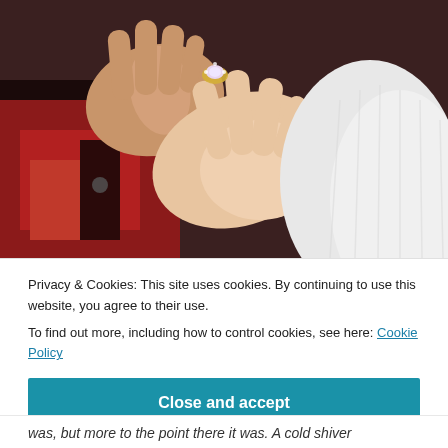[Figure (photo): Close-up photograph of two hands clasped together. One hand wears a diamond engagement ring. One person wears a red plaid jacket, the other wears a white knit sweater.]
Privacy & Cookies: This site uses cookies. By continuing to use this website, you agree to their use.
To find out more, including how to control cookies, see here: Cookie Policy
Close and accept
was, but more to the point there it was. A cold shiver